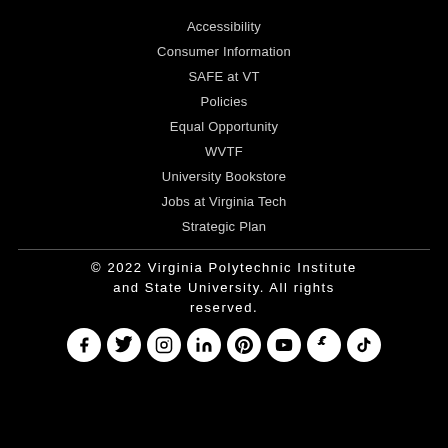Accessibility
Consumer Information
SAFE at VT
Policies
Equal Opportunity
WVTF
University Bookstore
Jobs at Virginia Tech
Strategic Plan
© 2022 Virginia Polytechnic Institute and State University. All rights reserved.
[Figure (infographic): Social media icons row: Facebook, Twitter, Instagram, LinkedIn, Pinterest, YouTube, Snapchat, TikTok]